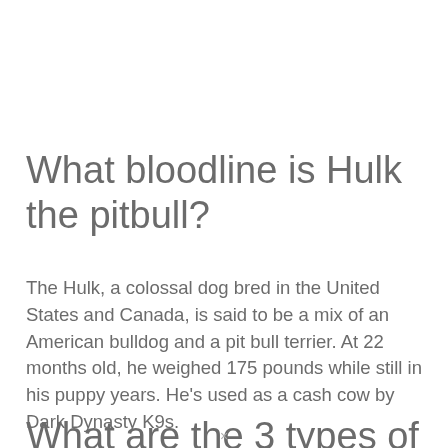What bloodline is Hulk the pitbull?
The Hulk, a colossal dog bred in the United States and Canada, is said to be a mix of an American bulldog and a pit bull terrier. At 22 months old, he weighed 175 pounds while still in his puppy years. He’s used as a cash cow by Dark Dynasty K9s.
What are the 3 types of